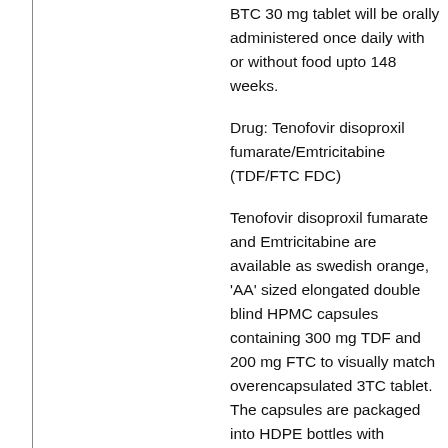BTC 30 mg tablet will be orally administered once daily with or without food upto 148 weeks.
Drug: Tenofovir disoproxil fumarate/Emtricitabine (TDF/FTC FDC)
Tenofovir disoproxil fumarate and Emtricitabine are available as swedish orange, 'AA' sized elongated double blind HPMC capsules containing 300 mg TDF and 200 mg FTC to visually match overencapsulated 3TC tablet. The capsules are packaged into HDPE bottles with induction seal